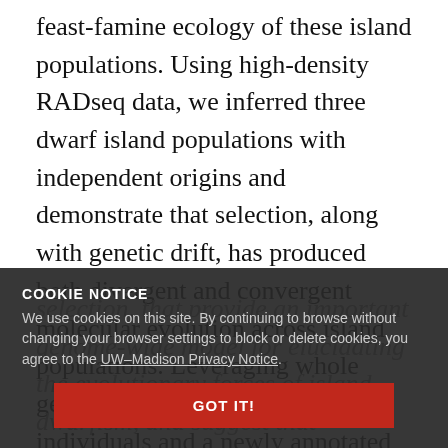feast-famine ecology of these island populations. Using high-density RADseq data, we inferred three dwarf island populations with independent origins and demonstrate that selection, along with genetic drift, has produced both divergent and convergent molecular evolution across island populations. Leveraging whole genome resequencing data for 20 individuals and a newly annotated Boa genome, we identify four genes with evidence of phenotypically-relevant protein-coding
selection, that provide an important genome-wide model for elucidating the evolutionary forces of island dwarfism, and suggest that selection may be a prominent force of evolutionary change—even for small island populations too small to experience effective dominance. Overall, while phenotypically convergent
COOKIE NOTICE
We use cookies on this site. By continuing to browse without changing your browser settings to block or delete cookies, you agree to the UW–Madison Privacy Notice.
GOT IT!